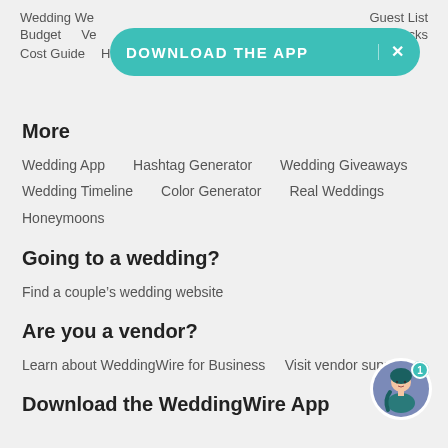Wedding We... | Guest List | Budget | Ve... | ...Blocks | Cost Guide | Help
[Figure (other): Teal rounded download app banner with text DOWNLOAD THE APP and an X close button]
More
Wedding App
Hashtag Generator
Wedding Giveaways
Wedding Timeline
Color Generator
Real Weddings
Honeymoons
Going to a wedding?
Find a couple's wedding website
Are you a vendor?
Learn about WeddingWire for Business    Visit vendor support
Download the WeddingWire App
[Figure (illustration): Chat avatar: purple circle with illustrated woman in traditional attire, teal badge showing number 1]